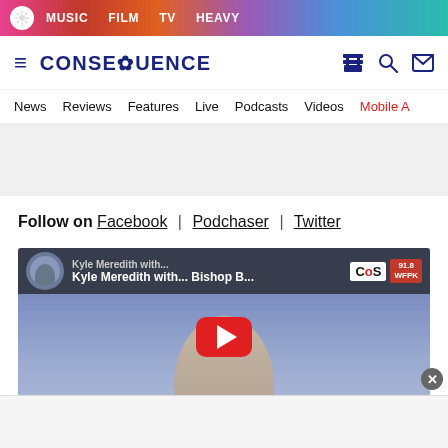MUSIC | FILM | TV | HEAVY
[Figure (logo): Consequence of Sound logo with site navigation icons]
News | Reviews | Features | Live | Podcasts | Videos | Mobile A
[Figure (other): Advertisement placeholder gray area]
Follow on Facebook | Podchaser | Twitter
[Figure (screenshot): YouTube video embed: Kyle Meredith with... Bishop B... with CoS logo and 91.8 WFPK radio badge. Shows a bald man's face with a red YouTube play button overlay.]